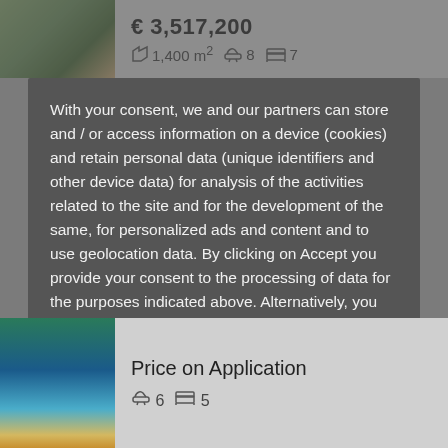€ 3,517,200
1,400 m²  8  7
With your consent, we and our partners can store and / or access information on a device (cookies) and retain personal data (unique identifiers and other device data) for analysis of the activities related to the site and for the development of the same, for personalized ads and content and to use geolocation data. By clicking on Accept you provide your consent to the processing of data for the purposes indicated above. Alternatively, you can access more detailed information and deny your consent or change your preferences. You can change your choices at any time from  Cookie Policy
MORE INFORMATION
ACCEPT
Price on Application
6  5